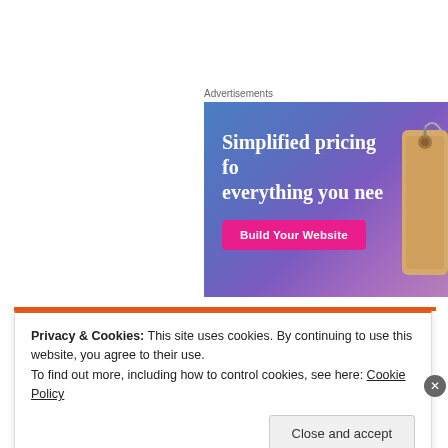Advertisements
[Figure (illustration): Advertisement banner with gradient blue-purple background showing text 'Simplified pricing fo everything you nee' with a pink 'Build Your Website' button and a price tag graphic on the right]
Privacy & Cookies: This site uses cookies. By continuing to use this website, you agree to their use.
To find out more, including how to control cookies, see here: Cookie Policy
Close and accept